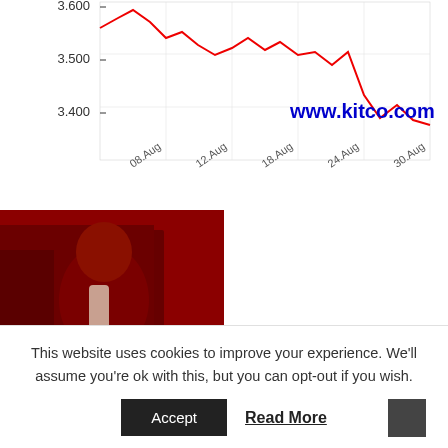[Figure (continuous-plot): Kitco.com line chart showing price data from 08.Aug to 30.Aug with y-axis values 3.400, 3.500, 3.600. Red line showing declining trend from ~3.580 down to ~3.430. Watermark text 'www.kitco.com' in blue.]
[Figure (photo): Advertisement image with red-tinted Lincoln Memorial statue. Text overlay reads 'THERE'S AN ATTACK ON YOUR FINANCIAL LIBERTY'. A small product box visible at bottom left.]
This website uses cookies to improve your experience. We'll assume you're ok with this, but you can opt-out if you wish.